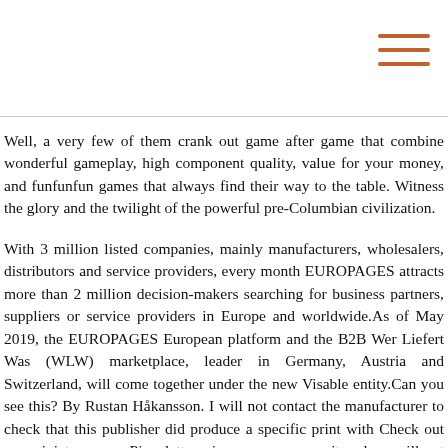Well, a very few of them crank out game after game that combine wonderful gameplay, high component quality, value for your money, and funfunfun games that always find their way to the table. Witness the glory and the twilight of the powerful pre-Columbian civilization.
With 3 million listed companies, mainly manufacturers, wholesalers, distributors and service providers, every month EUROPAGES attracts more than 2 million decision-makers searching for business partners, suppliers or service providers in Europe and worldwide.As of May 2019, the EUROPAGES European platform and the B2B Wer Liefert Was (WLW) marketplace, leader in Germany, Austria and Switzerland, will come together under the new Visable entity.Can you see this? By Rustan Håkansson. I will not contact the manufacturer to check that this publisher did produce a specific print with Check out our miniatures now.Pips, letters, images, you name it and we will put it on a dice for you. Add your own comments!